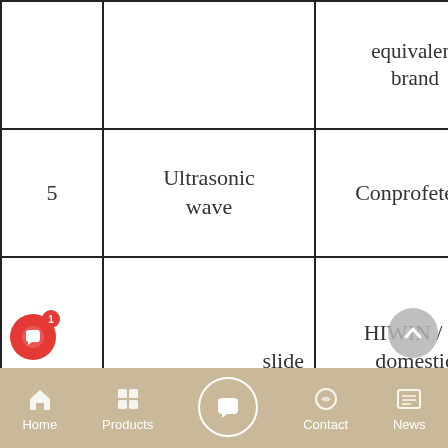| No. | Name | Brand |
| --- | --- | --- |
|  |  | equivalent brand |
| 5 | Ultrasonic wave | Conprofetech |
| 6 | slide rail | HIWIN / or domestic equivalent brand |
| 7 | Cylinder and components | AirTAC / or domestic equivalent brand |
| 8 | Machining parts and complete... | Self-made |
[Figure (screenshot): Website chat popup: 'Welcome to our site!' with Customer Support agent, just now, and input toolbar with Type, like, attachment, emoji icons.]
Home | Products | [chat] | Contact | News